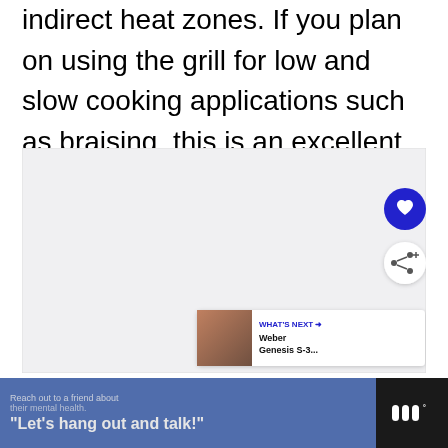indirect heat zones. If you plan on using the grill for low and slow cooking applications such as braising, this is an excellent feature.
[Figure (screenshot): A content area with social interaction buttons (heart/favorite button in blue, share button in white), and a 'WHAT'S NEXT' card showing Weber Genesis S-3...]
[Figure (photo): Advertisement banner: 'Reach out to a friend about their mental health. Let's hang out and talk!' with a logo on the right.]